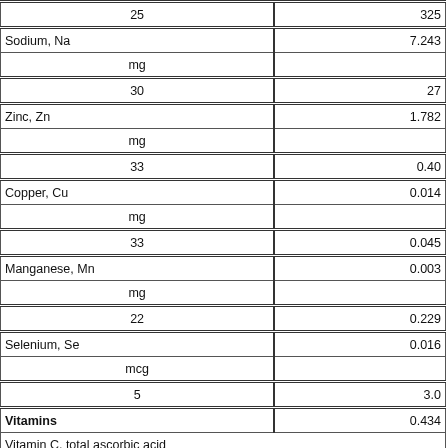| Nutrient | Value |
| --- | --- |
| 25 | 325 (partial) |
| Sodium, Na | 7.243 |
| mg |  |
| 30 | 27 |
| Zinc, Zn | 1.782 |
| mg |  |
| 33 | 0.40 |
| Copper, Cu | 0.014 |
| mg |  |
| 33 | 0.045 |
| Manganese, Mn | 0.003 |
| mg |  |
| 22 | 0.229 |
| Selenium, Se | 0.016 |
| mcg |  |
| 5 | 3.0 |
| Vitamins | 0.434 |
| Vitamin C, total ascorbic acid |  |
| mg |  |
| 15 | 93.2 |
| Thiamin | 2.068 |
| mg |  |
|  |  |